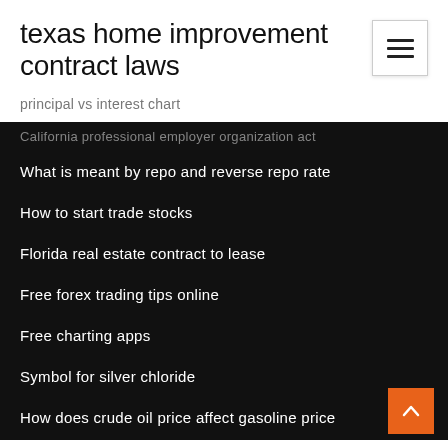texas home improvement contract laws
principal vs interest chart
California professional employer organization act
What is meant by repo and reverse repo rate
How to start trade stocks
Florida real estate contract to lease
Free forex trading tips online
Free charting apps
Symbol for silver chloride
How does crude oil price affect gasoline price
Online stock trading reviews top 10